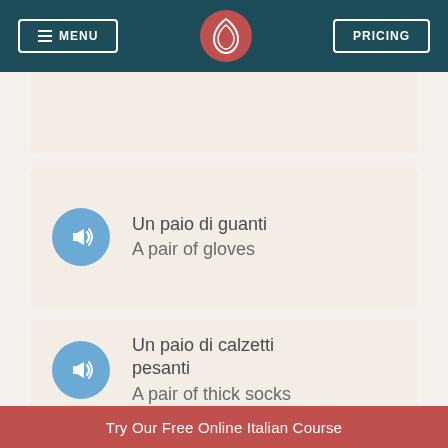MENU | [logo] | PRICING
[Figure (other): Partial flashcard at the top, no visible text]
Un paio di guanti / A pair of gloves
Un paio di calzetti pesanti / A pair of thick socks
Try Our Free Online Italian Course